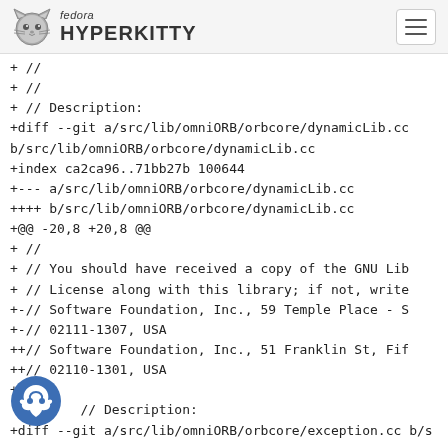fedora HYPERKITTY
+ //
+ //
+ // Description:
+diff --git a/src/lib/omniORB/orbcore/dynamicLib.cc b/src/lib/omniORB/orbcore/dynamicLib.cc
+index ca2ca96..71bb27b 100644
++-- a/src/lib/omniORB/orbcore/dynamicLib.cc
++++ b/src/lib/omniORB/orbcore/dynamicLib.cc
+@@ -20,8 +20,8 @@
+ //
+ //      You should have received a copy of the GNU Lib
+ //      License along with this library; if not, write
+-//      Software Foundation, Inc., 59 Temple Place - S
+-//      02111-1307, USA
+++//      Software Foundation, Inc., 51 Franklin St, Fif
+++//      02110-1301, USA
+ //
+ +//
+ // Description:
+diff --git a/src/lib/omniORB/orbcore/exception.cc b/s